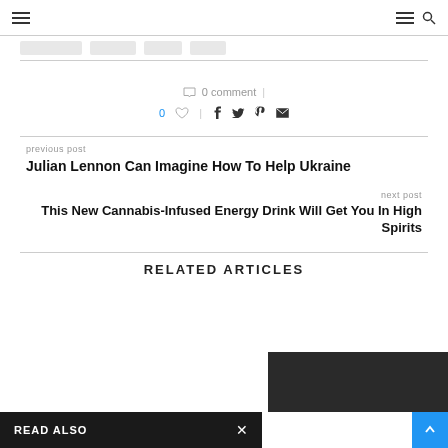navigation header with hamburger menus and search icon
0 comment
0 like heart icon facebook twitter pinterest email
previous post
Julian Lennon Can Imagine How To Help Ukraine
next post
This New Cannabis-Infused Energy Drink Will Get You In High Spirits
RELATED ARTICLES
READ ALSO